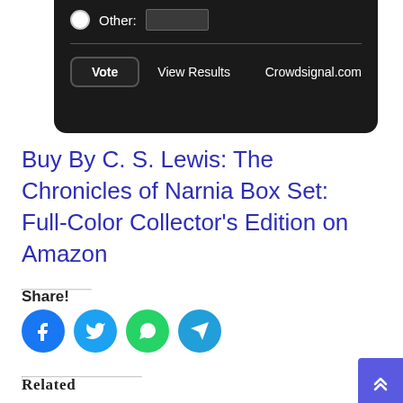[Figure (screenshot): Dark poll widget showing 'Other:' radio button with input field, a horizontal divider, and buttons: Vote, View Results, Crowdsignal.com]
Buy By C. S. Lewis: The Chronicles of Narnia Box Set: Full-Color Collector's Edition on Amazon
Share!
[Figure (infographic): Four social share icon buttons: Facebook (blue circle), Twitter (blue circle), WhatsApp (green circle), Telegram (teal circle)]
Related
[Figure (illustration): Sketch-style pencil drawing on beige background — partial figure visible at bottom]
[Figure (infographic): Yellow/gold background tile with white text reading 'Top Ten']
[Figure (infographic): Purple back-to-top button with double chevron arrows in bottom-right corner]